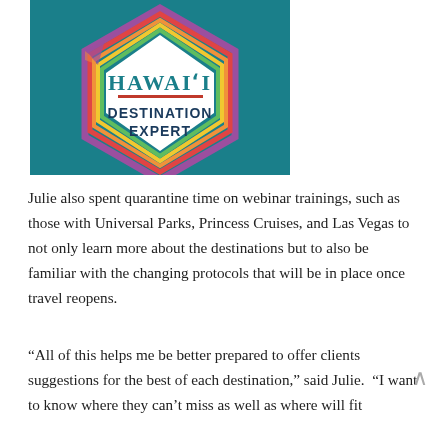[Figure (logo): Hawai'i Destination Expert badge — a hexagonal badge on a teal background with multicolored border stripes, featuring the text 'HAWAI'I' and 'DESTINATION EXPERT' in bold on a white hexagon.]
Julie also spent quarantine time on webinar trainings, such as those with Universal Parks, Princess Cruises, and Las Vegas to not only learn more about the destinations but to also be familiar with the changing protocols that will be in place once travel reopens.
“All of this helps me be better prepared to offer clients suggestions for the best of each destination,” said Julie.  “I want to know where they can’t miss as well as where will fit